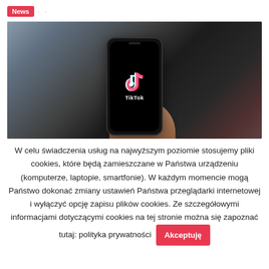News · ·
[Figure (photo): A hand holding a black smartphone displaying the TikTok app logo and name on a dark background.]
W celu świadczenia usług na najwyższym poziomie stosujemy pliki cookies, które będą zamieszczane w Państwa urządzeniu (komputerze, laptopie, smartfonie). W każdym momencie mogą Państwo dokonać zmiany ustawień Państwa przeglądarki internetowej i wyłączyć opcję zapisu plików cookies. Ze szczegółowymi informacjami dotyczącymi cookies na tej stronie można się zapoznać tutaj: polityka prywatności  Akceptuję